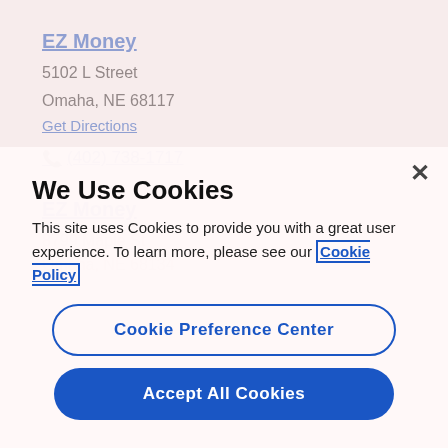EZ Money
5102 L Street
Omaha, NE 68117
Get Directions
(402) 738-1717
EZ Money
8799 Maple St
Omaha, NE 68134
We Use Cookies
This site uses Cookies to provide you with a great user experience. To learn more, please see our Cookie Policy
Cookie Preference Center
Accept All Cookies